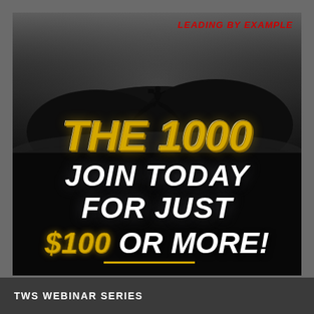[Figure (illustration): Dark promotional graphic with silhouette of a person on a mountain peak against a misty grey sky background. The image transitions from dark grey at top to solid black at bottom. Large golden bold italic text reads 'THE 1000'. Below in large white bold italic text: 'JOIN TODAY FOR JUST $100 OR MORE!' with a gold underline beneath '$100'. Red italic text in upper right reads 'LEADING BY EXAMPLE'.]
TWS WEBINAR SERIES